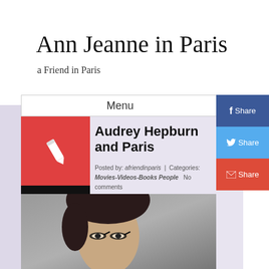Ann Jeanne in Paris
a Friend in Paris
Menu
Audrey Hepburn and Paris
Posted by: afriendinparis | Categories: Movies-Videos-Books People  No comments
[Figure (photo): Photograph of a woman with dark hair and dramatic eye makeup against a gray background]